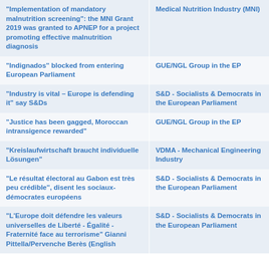| "Implementation of mandatory malnutrition screening": the MNI Grant 2019 was granted to APNEP for a project promoting effective malnutrition diagnosis | Medical Nutrition Industry (MNI) |
| "Indignados" blocked from entering European Parliament | GUE/NGL Group in the EP |
| "Industry is vital – Europe is defending it" say S&Ds | S&D - Socialists & Democrats in the European Parliament |
| "Justice has been gagged, Moroccan intransigence rewarded" | GUE/NGL Group in the EP |
| "Kreislaufwirtschaft braucht individuelle Lösungen" | VDMA - Mechanical Engineering Industry |
| "Le résultat électoral au Gabon est très peu crédible", disent les sociaux-démocrates européens | S&D - Socialists & Democrats in the European Parliament |
| "L'Europe doit défendre les valeurs universelles de Liberté - Égalité - Fraternité face au terrorisme" Gianni Pittella/Pervenche Berès (English | S&D - Socialists & Democrats in the European Parliament |